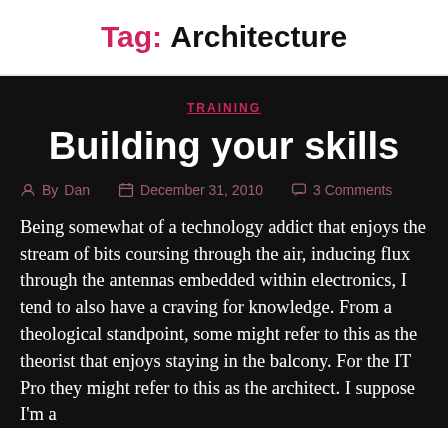Tag: Architecture
TRAINING
Building your skills
By Dan   December 31, 2010   3 Comments
Being somewhat of a technology addict that enjoys the stream of bits coursing through the air, inducing flux through the antennas embedded within electronics, I tend to also have a craving for knowledge. From a theological standpoint, some might refer to this as the theorist that enjoys staying in the balcony. For the IT Pro they might refer to this as the architect.  I suppose I'm a